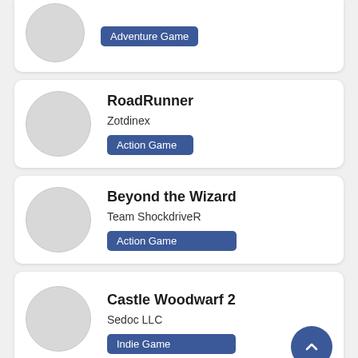Adventure Game (partial card, top)
RoadRunner, Zotdinex, Action Game
Beyond the Wizard, Team ShockdriveR, Action Game
Castle Woodwarf 2, Sedoc LLC, Indie Game